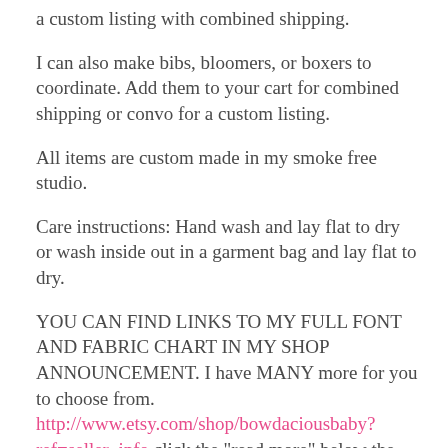a custom listing with combined shipping.
I can also make bibs, bloomers, or boxers to coordinate. Add them to your cart for combined shipping or convo for a custom listing.
All items are custom made in my smoke free studio.
Care instructions: Hand wash and lay flat to dry or wash inside out in a garment bag and lay flat to dry.
YOU CAN FIND LINKS TO MY FULL FONT AND FABRIC CHART IN MY SHOP ANNOUNCEMENT. I have MANY more for you to choose from. http://www.etsy.com/shop/bowdaciousbaby?ref=seller_info click the "read more" below the shop banner. Be sure and check out my most current fabric chart.